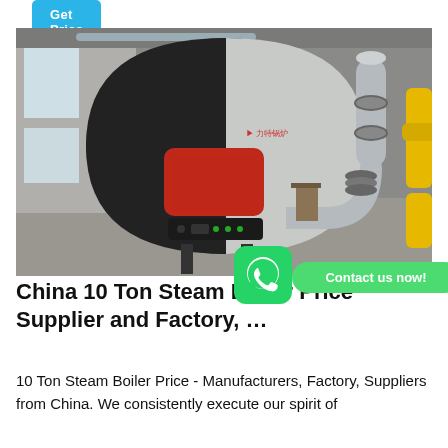Get Price
[Figure (photo): Industrial steam boiler in a factory setting. A large cylindrical black and white boiler with a red burner unit is visible, with silver metal piping and yellow gas pipes on the right side. A worker chair is visible in the background.]
China 10 Ton Steam Boiler Price Supplier and Factory, …
10 Ton Steam Boiler Price - Manufacturers, Factory, Suppliers from China. We consistently execute our spirit of